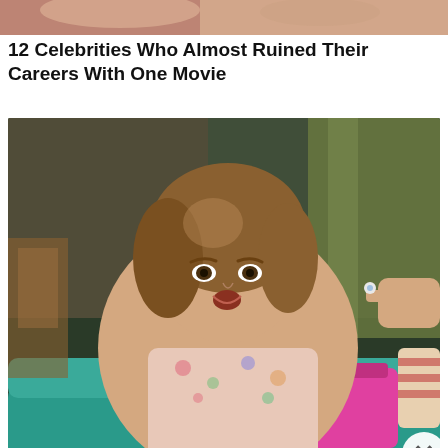[Figure (photo): Partial photo at top showing a person's torso/body]
12 Celebrities Who Almost Ruined Their Careers With One Movie
[Figure (photo): Scene from a TV show with a woman sitting on a teal sofa looking surprised, a hand extending from the right offering a ring]
READ MORE
[Figure (logo): mgid logo with colorful underline and play button]
[Figure (photo): Woman looking surprised in a bathtub, wearing a green jacket]
8 Amazing Movies You Need To Watch On Amazon Prime
[Figure (photo): Close-up of a leg/arm with black and red straps/bands, someone pointing at it]
8 Most Successful Technology Failures Of All Time